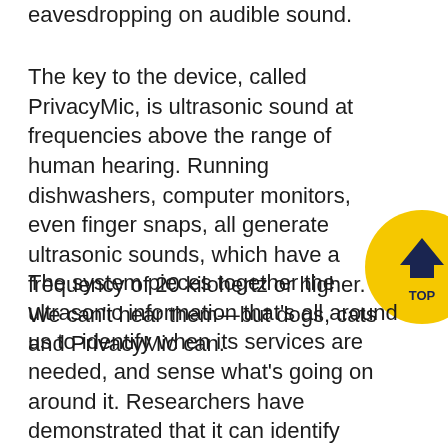eavesdropping on audible sound.
The key to the device, called PrivacyMic, is ultrasonic sound at frequencies above the range of human hearing. Running dishwashers, computer monitors, even finger snaps, all generate ultrasonic sounds, which have a frequency of 20 kilohertz or higher. We can't hear them—but dogs, cats and PrivacyMic can.
The system pieces together the ultrasonic information that's all around us to identify when its services are needed, and sense what's going on around it. Researchers have demonstrated that it can identify household and office activities with greater than 95% accuracy.
[Figure (other): Yellow circular badge with dark navy chevron/arrow pointing up and text 'TOP' below it in dark navy, partially visible at right edge of page]